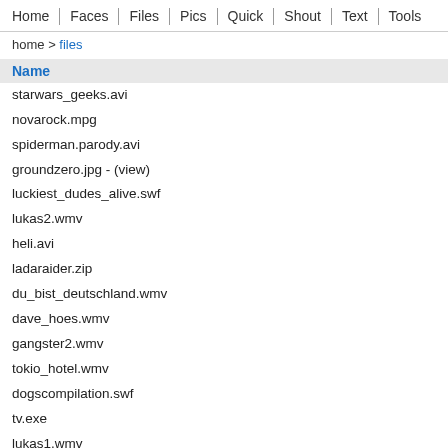Home | Faces | Files | Pics | Quick | Shout | Text | Tools
home > files
| Name |
| --- |
| starwars_geeks.avi |
| novarock.mpg |
| spiderman.parody.avi |
| groundzero.jpg - (view) |
| luckiest_dudes_alive.swf |
| lukas2.wmv |
| heli.avi |
| ladaraider.zip |
| du_bist_deutschland.wmv |
| dave_hoes.wmv |
| gangster2.wmv |
| tokio_hotel.wmv |
| dogscompilation.swf |
| tv.exe |
| lukas1.wmv |
| guess_the_bra_size.swf |
| Kiez.mpg |
| asian_bsb.wmv |
| bestofthe40s.wmv |
| maria.swf |